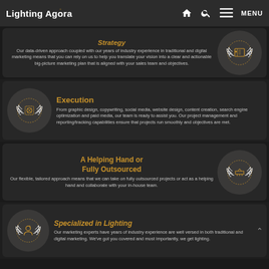Lighting Agora — MENU
Strategy
Our data-driven approach coupled with our years of industry experience in traditional and digital marketing means that you can rely on us to help you translate your vision into a clear and actionable big-picture marketing plan that is aligned with your sales team and objectives.
Execution
From graphic design, copywriting, social media, website design, content creation, search engine optimization and paid media, our team is ready to assist you. Our project management and reporting/tracking capabilities ensure that projects run smoothly and objectives are met.
A Helping Hand or Fully Outsourced
Our flexible, tailored approach means that we can take on fully outsourced projects or act as a helping hand and collaborate with your in-house team.
Specialized in Lighting
Our marketing experts have years of industry experience are well versed in both traditional and digital marketing. We've got you covered and most importantly, we get lighting.